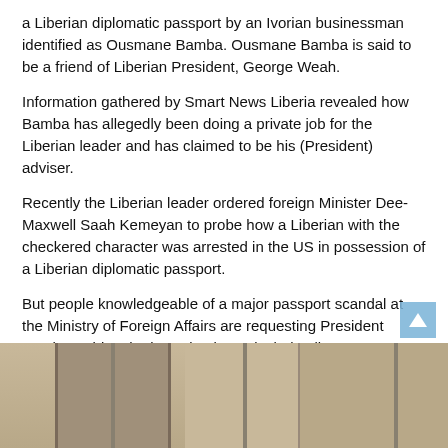a Liberian diplomatic passport by an Ivorian businessman identified as Ousmane Bamba. Ousmane Bamba is said to be a friend of Liberian President, George Weah.
Information gathered by Smart News Liberia revealed how Bamba has allegedly been doing a private job for the Liberian leader and has claimed to be his (President) adviser.
Recently the Liberian leader ordered foreign Minister Dee-Maxwell Saah Kemeyan to probe how a Liberian with the checkered character was arrested in the US in possession of a Liberian diplomatic passport.
But people knowledgeable of a major passport scandal at the Ministry of Foreign Affairs are requesting President Weah to widen the investigation to include all passport scandals including the one that is allegedly in the possession of Mr. Ousmane Bamba.
[Figure (photo): Bottom portion of a photograph showing what appears to be an interior space with poles or pillars, warm beige/tan tones, partially visible.]